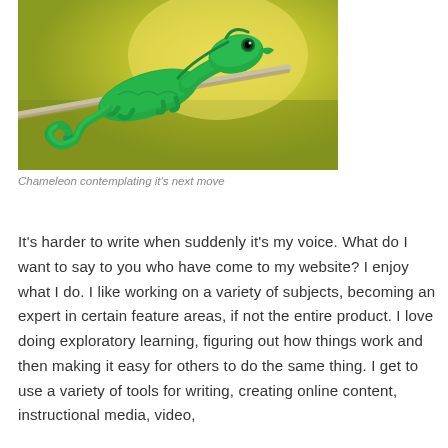[Figure (photo): A green chameleon perched on a branch, curling its tail, with a blurred yellow-green background.]
Chameleon contemplating it's next move
It's harder to write when suddenly it's my voice. What do I want to say to you who have come to my website? I enjoy what I do. I like working on a variety of subjects, becoming an expert in certain feature areas, if not the entire product. I love doing exploratory learning, figuring out how things work and then making it easy for others to do the same thing. I get to use a variety of tools for writing, creating online content, instructional media, video,